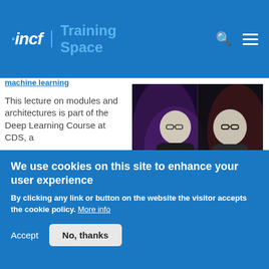incf | Training Space
machine learning
[Figure (photo): Two men appearing in a split-screen video lecture, one on the left and one on the right, against purple and dark backgrounds.]
This lecture on modules and architectures is part of the Deep Learning Course at CDS, a course that covered the latest techniques in deep learning and representation learning, focusing on supervised and unsupervised deep learning, embedding methods, metric
We use cookies on this site to enhance your user experience
By clicking any link or button on the website the visitor accepts the cookie policy. More info
Accept
No, thanks